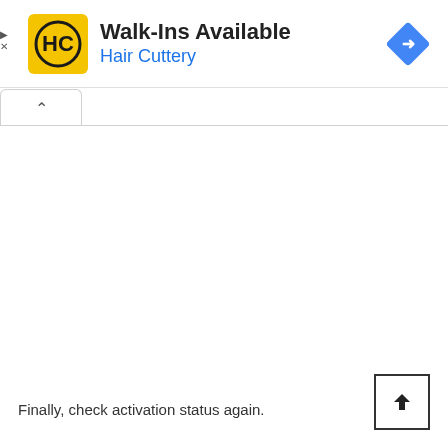[Figure (screenshot): Hair Cuttery advertisement banner with yellow HC logo, title 'Walk-Ins Available', brand name 'Hair Cuttery' in blue, and a blue diamond directions icon on the right. Ad controls (play and close) on far left.]
[Figure (screenshot): Browser tab bar with a single tab showing an up-chevron (^) symbol, with a horizontal dividing line below.]
Finally, check activation status again.
[Figure (screenshot): Scroll-to-top button: a square with an upward arrow icon, positioned bottom-right.]